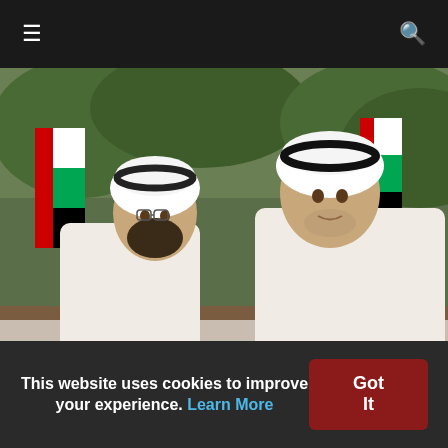≡  🔍
[Figure (photo): Two men in white traditional Gulf Arab dress (kandura/thobe) with black agal headdresses seated and conversing, with UAE flags and greenery in the background.]
Mohammed, Mohamed Bin Zayed discuss national issues
Hello and welcome to the details of Mohammed, Mohamed
This website uses cookies to improve your experience. Learn More  Got It